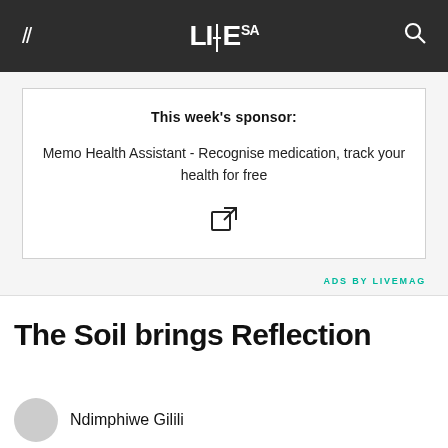LIVE SA
This week's sponsor:
Memo Health Assistant - Recognise medication, track your health for free
ADS BY LIVEMAG
The Soil brings Reflection
Ndimphiwe Gilili